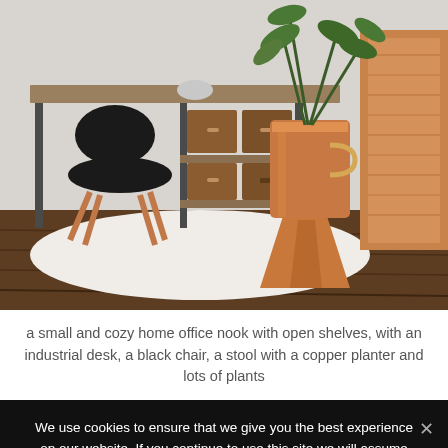[Figure (photo): A small and cozy home office nook with an industrial desk with open shelves containing wooden boxes, a black modern chair, a wood and copper planter on a stool holding a large green plant, hardwood floors, a white cowhide rug, and a wood-paneled cabinet on the right.]
a small and cozy home office nook with open shelves, with an industrial desk, a black chair, a stool with a copper planter and lots of plants
We use cookies to ensure that we give you the best experience on our website. If you continue to use this site we will assume that you are happy with it.
Ok